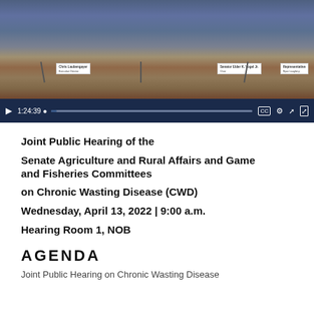[Figure (screenshot): Video screenshot of a legislative hearing room with officials seated at a dais with name placards. Video player controls show timestamp 1:24:39 on a dark navy control bar with play button, progress bar, and icons for closed captions, settings, external link, and fullscreen.]
Joint Public Hearing of the
Senate Agriculture and Rural Affairs and Game and Fisheries Committees
on Chronic Wasting Disease (CWD)
Wednesday, April 13, 2022 | 9:00 a.m.
Hearing Room 1, NOB
AGENDA
Joint Public Hearing on Chronic Wasting Disease